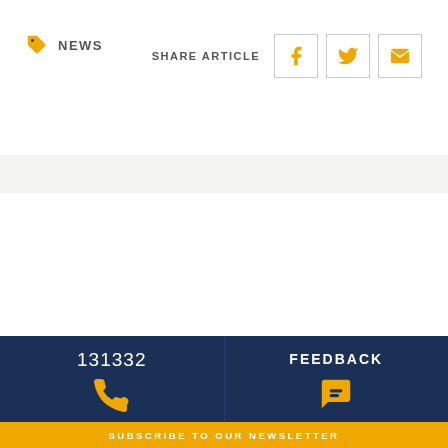NEWS
SHARE ARTICLE
131332
FEEDBACK
SUBSCRIBE TO OUR NEWSLETTER